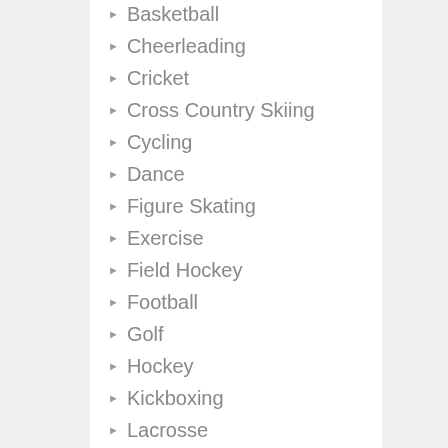Basketball
Cheerleading
Cricket
Cross Country Skiing
Cycling
Dance
Figure Skating
Exercise
Field Hockey
Football
Golf
Hockey
Kickboxing
Lacrosse
Rugby
Running
Skiiing
Snowboarding